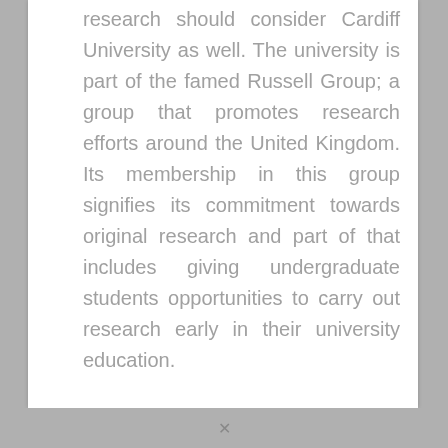research should consider Cardiff University as well. The university is part of the famed Russell Group; a group that promotes research efforts around the United Kingdom. Its membership in this group signifies its commitment towards original research and part of that includes giving undergraduate students opportunities to carry out research early in their university education.